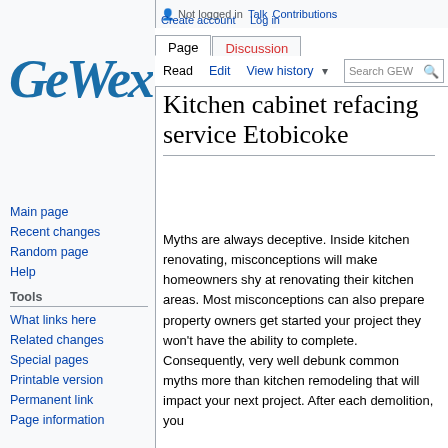Not logged in  Talk  Contributions  Create account  Log in
[Figure (logo): GEWEX logo in blue italic bold text]
Main page
Recent changes
Random page
Help
Tools
What links here
Related changes
Special pages
Printable version
Permanent link
Page information
Kitchen cabinet refacing service Etobicoke
Myths are always deceptive. Inside kitchen renovating, misconceptions will make homeowners shy at renovating their kitchen areas. Most misconceptions can also prepare property owners get started your project they won't have the ability to complete. Consequently, very well debunk common myths more than kitchen remodeling that will impact your next project. After each demolition, you